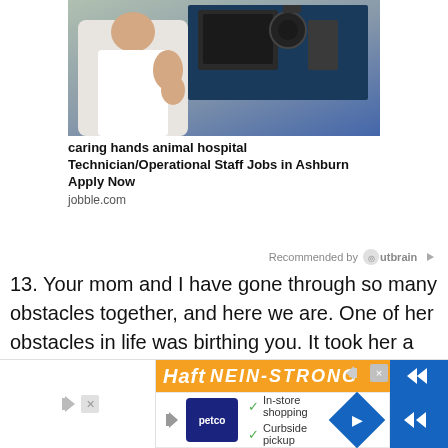[Figure (photo): Person in white coat working with equipment, advertisement image for Caring Hands Animal Hospital]
caring hands animal hospital
Technician/Operational Staff Jobs in Ashburn Apply Now
jobble.com
Recommended by Outbrain
13. Your mom and I have gone through so many obstacles together, and here we are. One of her obstacles in life was birthing you. It took her a very long process, but we thank God that you’re here, making us proud. Happy birthday to you.
[Figure (screenshot): Bottom advertisement banner showing Haft brand with Petco in-store shopping and curbside pickup offer]